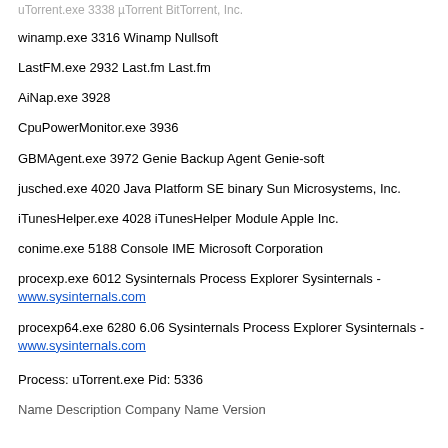uTorrent.exe 3338 µTorrent BitTorrent, Inc.
winamp.exe 3316 Winamp Nullsoft
LastFM.exe 2932 Last.fm Last.fm
AiNap.exe 3928
CpuPowerMonitor.exe 3936
GBMAgent.exe 3972 Genie Backup Agent Genie-soft
jusched.exe 4020 Java Platform SE binary Sun Microsystems, Inc.
iTunesHelper.exe 4028 iTunesHelper Module Apple Inc.
conime.exe 5188 Console IME Microsoft Corporation
procexp.exe 6012 Sysinternals Process Explorer Sysinternals - www.sysinternals.com
procexp64.exe 6280 6.06 Sysinternals Process Explorer Sysinternals - www.sysinternals.com
Process: uTorrent.exe Pid: 5336
Name Description Company Name Version